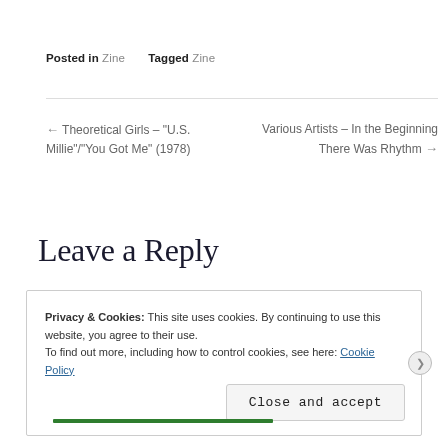Posted in Zine    Tagged Zine
← Theoretical Girls – "U.S. Millie"/"You Got Me" (1978)
Various Artists – In the Beginning There Was Rhythm →
Leave a Reply
Privacy & Cookies: This site uses cookies. By continuing to use this website, you agree to their use.
To find out more, including how to control cookies, see here: Cookie Policy
Close and accept